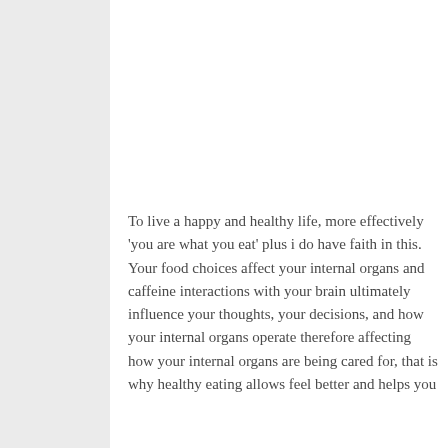To live a happy and healthy life, more effectively 'you are what you eat' plus i do have faith in this. Your food choices affect your internal organs and caffeine interactions with your brain ultimately influence your thoughts, your decisions, and how your internal organs operate therefore affecting how your internal organs are being cared for, that is why healthy eating allows feel better and helps you